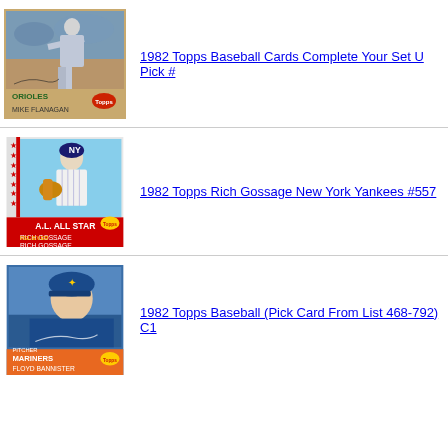[Figure (photo): 1982 Topps baseball card - Mike Flanagan, Baltimore Orioles pitcher]
1982 Topps Baseball Cards Complete Your Set U Pick #
[Figure (photo): 1982 Topps baseball card - Rich Gossage, New York Yankees, AL All Star #557]
1982 Topps Rich Gossage New York Yankees #557
[Figure (photo): 1982 Topps baseball card - Floyd Bannister, Seattle Mariners pitcher]
1982 Topps Baseball (Pick Card From List 468-792) C1